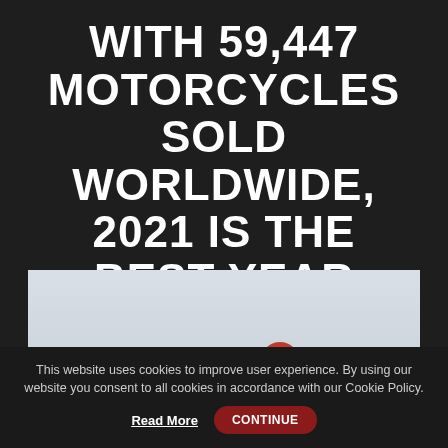WITH 59,447 MOTORCYCLES SOLD WORLDWIDE, 2021 IS THE BEST YEAR EVER
[Figure (photo): A motorcycle rider in red gear and helmet leaning over a motorcycle against a pale sky background]
This website uses cookies to improve user experience. By using our website you consent to all cookies in accordance with our Cookie Policy. Read More CONTINUE